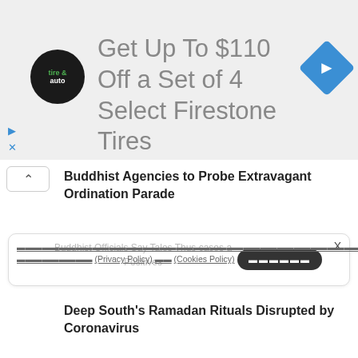[Figure (screenshot): Advertisement banner for Firestone tires with logo, text and navigation icon]
Get Up To $110 Off a Set of 4 Select Firestone Tires
Buddhist Agencies to Probe Extravagant Ordination Parade
Buddhist Officials Say Tales Thus cases and Positives (cookie/privacy notice overlay)
Deep South's Ramadan Rituals Disrupted by Coronavirus
Islamic Officials Ask Faithfuls to Stay Home As Ramadan Begins